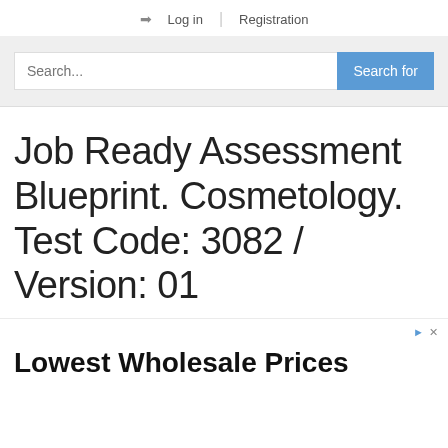Log in | Registration
Job Ready Assessment Blueprint. Cosmetology. Test Code: 3082 / Version: 01
Lowest Wholesale Prices